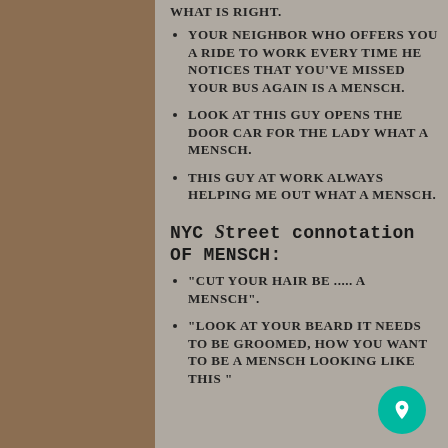WHAT IS RIGHT.
Your neighbor who offers you a ride to work every time he notices that you've missed your bus again is a mensch.
Look at this guy opens the door car for the lady what a mensch.
This guy at work always helping me out what a mensch.
NYC Street connotation of MENSCH:
"Cut your hair be ..... A mensch".
"look at your beard it needs to be groomed, how you want to be a mensch looking like this "